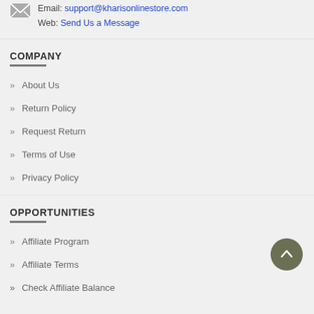Email: support@kharisонlinestore.com
Web: Send Us a Message
COMPANY
About Us
Return Policy
Request Return
Terms of Use
Privacy Policy
OPPORTUNITIES
Affiliate Program
Affiliate Terms
Check Affiliate Balance